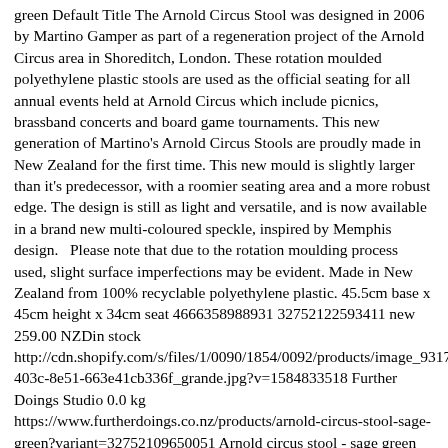green Default Title The Arnold Circus Stool was designed in 2006 by Martino Gamper as part of a regeneration project of the Arnold Circus area in Shoreditch, London. These rotation moulded polyethylene plastic stools are used as the official seating for all annual events held at Arnold Circus which include picnics, brassband concerts and board game tournaments. This new generation of Martino's Arnold Circus Stools are proudly made in New Zealand for the first time. This new mould is slightly larger than it's predecessor, with a roomier seating area and a more robust edge. The design is still as light and versatile, and is now available in a brand new multi-coloured speckle, inspired by Memphis design.   Please note that due to the rotation moulding process used, slight surface imperfections may be evident. Made in New Zealand from 100% recyclable polyethylene plastic. 45.5cm base x 45cm height x 34cm seat 4666358988931 32752122593411 new 259.00 NZDin stock http://cdn.shopify.com/s/files/1/0090/1854/0092/products/image_9317e2b-403c-8e51-663e41cb336f_grande.jpg?v=1584833518 Further Doings Studio 0.0 kg https://www.furtherdoings.co.nz/products/arnold-circus-stool-sage-green?variant=32752109650051 Arnold circus stool - sage green Default Title The Arnold Circus Stool was designed in 2006 by Martino Gamper as part of a regeneration project of the Arnold Circus area in Shoreditch, London. These rotation moulded polyethylene plastic stools are used as the official seating for all